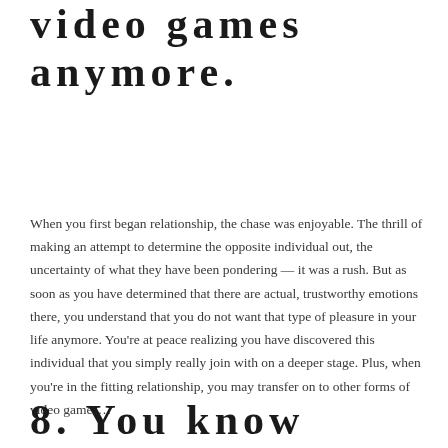video games anymore.
When you first began relationship, the chase was enjoyable. The thrill of making an attempt to determine the opposite individual out, the uncertainty of what they have been pondering — it was a rush. But as soon as you have determined that there are actual, trustworthy emotions there, you understand that you do not want that type of pleasure in your life anymore. You're at peace realizing you have discovered this individual that you simply really join with on a deeper stage. Plus, when you're in the fitting relationship, you may transfer on to other forms of video games…
8. You know